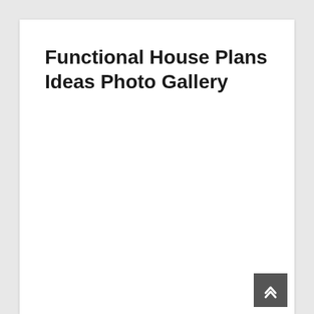Functional House Plans Ideas Photo Gallery